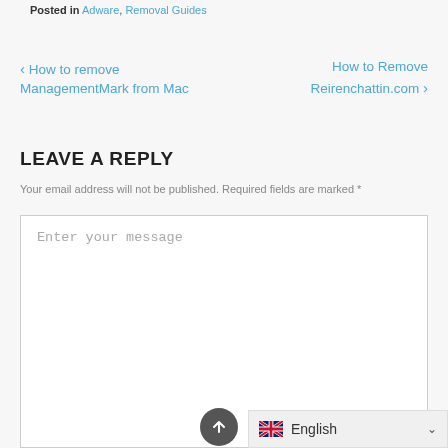Posted in Adware, Removal Guides
< How to remove ManagementMark from Mac   How to Remove Reirenchattin.com >
LEAVE A REPLY
Your email address will not be published. Required fields are marked *
Enter your message
[Figure (screenshot): Language selector bar showing English with UK flag and dropdown arrow, and a scroll-to-top button]